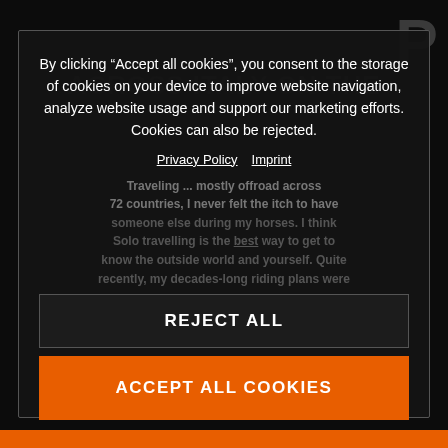[Figure (screenshot): Background article page with dark overlay, showing partial heading 'P' and 'ACROSS ITALY ON THE' and article body text about traveling offroad across 72 countries]
By clicking “Accept all cookies”, you consent to the storage of cookies on your device to improve website navigation, analyze website usage and support our marketing efforts. Cookies can also be rejected.
Privacy Policy  Imprint
Traveling ... mostly offroad across 72 countries, I never felt the itch to have someone else during my horses. I think solo travelling is the best way to get to know the outside world and yourself. Quite recently, my decades-long riding plans were
REJECT ALL
ACCEPT ALL COOKIES